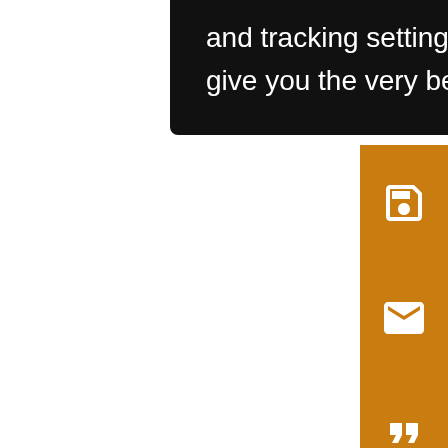and tracking settings to store information that help give you the very best browsing experience.
[Figure (screenshot): Orange sidebar with save, email, cite, alert, and share icon buttons]
spe s⁻² tim ave the hig tem fre